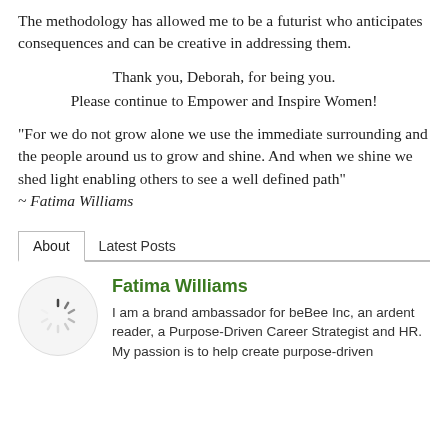The methodology has allowed me to be a futurist who anticipates consequences and can be creative in addressing them.
Thank you, Deborah, for being you.
Please continue to Empower and Inspire Women!
"For we do not grow alone we use the immediate surrounding and the people around us to grow and shine. And when we shine we shed light enabling others to see a well defined path"
~ Fatima Williams
About   Latest Posts
Fatima Williams
I am a brand ambassador for beBee Inc, an ardent reader, a Purpose-Driven Career Strategist and HR. My passion is to help create purpose-driven